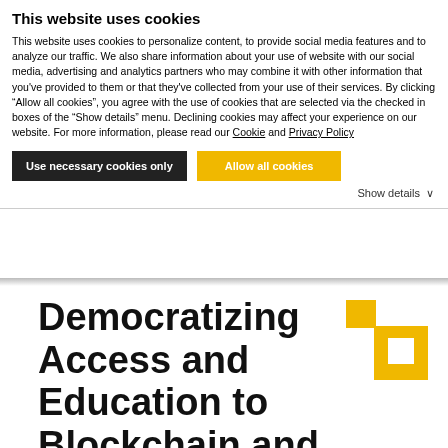This website uses cookies
This website uses cookies to personalize content, to provide social media features and to analyze our traffic. We also share information about your use of website with our social media, advertising and analytics partners who may combine it with other information that you've provided to them or that they've collected from your use of their services. By clicking “Allow all cookies”, you agree with the use of cookies that are selected via the checked in boxes of the “Show details” menu. Declining cookies may affect your experience on our website. For more information, please read our Cookie and Privacy Policy
Use necessary cookies only
Allow all cookies
Show details ∨
Democratizing Access and Education to Blockchain and Crypto
[Figure (logo): Yellow and white square logo mark with interlocking square shapes]